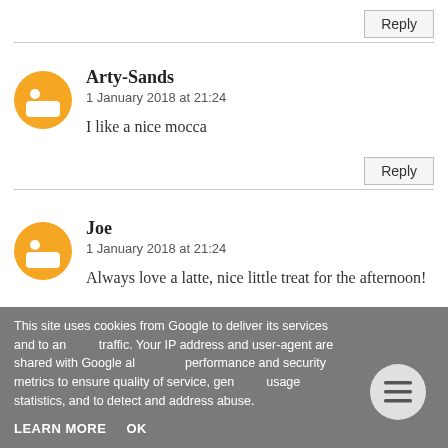Reply
Arty-Sands
1 January 2018 at 21:24
I like a nice mocca
Reply
Joe
1 January 2018 at 21:24
Always love a latte, nice little treat for the afternoon!
LeilaB
This site uses cookies from Google to deliver its services and to analyse traffic. Your IP address and user-agent are shared with Google along with performance and security metrics to ensure quality of service, generate usage statistics, and to detect and address abuse.
LEARN MORE    OK